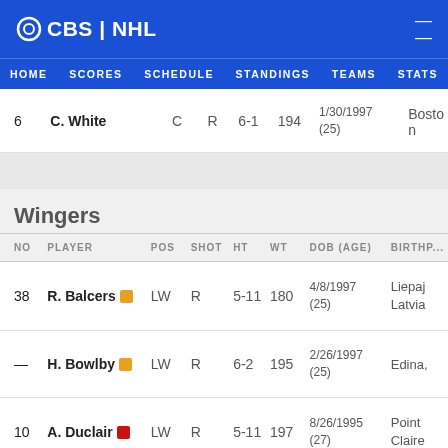CBS | NHL
HOME SCORES SCHEDULE STANDINGS TEAMS STATS
| NO | PLAYER | POS | SHOT | HT | WT | DOB (AGE) | BIRTHPLACE |
| --- | --- | --- | --- | --- | --- | --- | --- |
| 6 | C. White | C | R | 6-1 | 194 | 1/30/1997 (25) | Boston |
Wingers
| NO | PLAYER | POS | SHOT | HT | WT | DOB (AGE) | BIRTHPLACE |
| --- | --- | --- | --- | --- | --- | --- | --- |
| 38 | R. Balcers | LW | R | 5-11 | 180 | 4/8/1997 (25) | Liepaja, Latvia |
| — | H. Bowlby | LW | R | 6-2 | 195 | 2/26/1997 (25) | Edina, |
| 10 | A. Duclair | LW | R | 5-11 | 197 | 8/26/1995 (27) | Pointe-Claire |